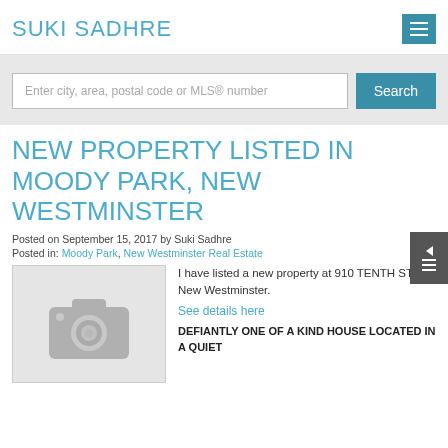SUKI SADHRE
[Figure (screenshot): Search bar with placeholder text 'Enter city, area, postal code or MLS® number' and a teal Search button]
NEW PROPERTY LISTED IN MOODY PARK, NEW WESTMINSTER
Posted on September 15, 2017 by Suki Sadhre
Posted in: Moody Park, New Westminster Real Estate
[Figure (photo): Placeholder image with camera icon]
I have listed a new property at 910 TENTH ST in New Westminster.
See details here
DEFIANTLY ONE OF A KIND HOUSE LOCATED IN A QUIET